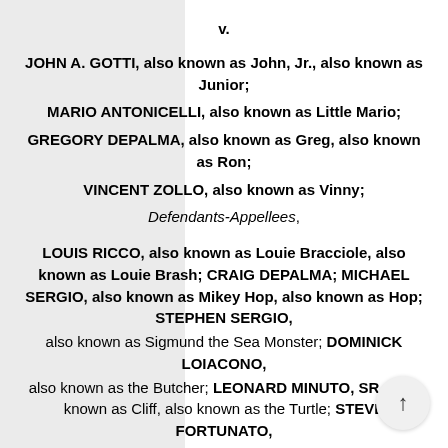v.
JOHN A. GOTTI, also known as John, Jr., also known as Junior;
MARIO ANTONICELLI, also known as Little Mario;
GREGORY DEPALMA, also known as Greg, also known as Ron;
VINCENT ZOLLO, also known as Vinny;
Defendants-Appellees,
LOUIS RICCO, also known as Louie Bracciole, also known as Louie Brash; CRAIG DEPALMA; MICHAEL SERGIO, also known as Mikey Hop, also known as Hop; STEPHEN SERGIO, also known as Sigmund the Sea Monster; DOMINICK LOIACONO, also known as the Butcher; LEONARD MINUTO, SR., also known as Cliff, also known as the Turtle; STEVE FORTUNATO, also known as Guappo; PETER FORCHETTI, also known as